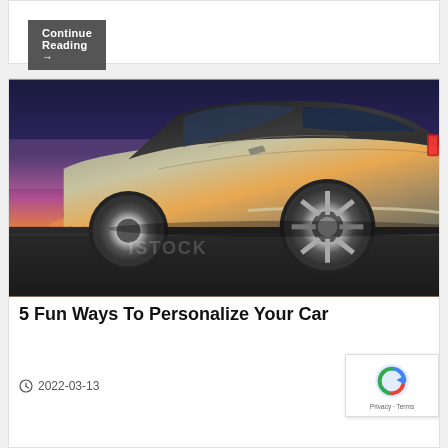Continue Reading →
[Figure (photo): Silver/gold luxury car photographed from rear three-quarter angle against a dramatic sunset sky with orange, pink and purple hues. The car is parked on a dark asphalt road. Watermark text visible in lower left area.]
5 Fun Ways To Personalize Your Car
2022-03-13